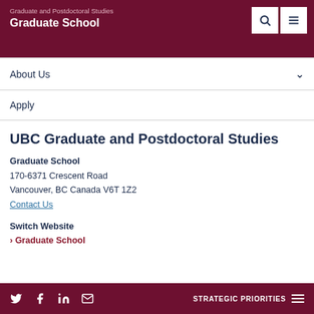Graduate and Postdoctoral Studies Graduate School
About Us
Apply
UBC Graduate and Postdoctoral Studies
Graduate School
170-6371 Crescent Road
Vancouver, BC Canada V6T 1Z2
Contact Us
Switch Website
> Graduate School
STRATEGIC PRIORITIES